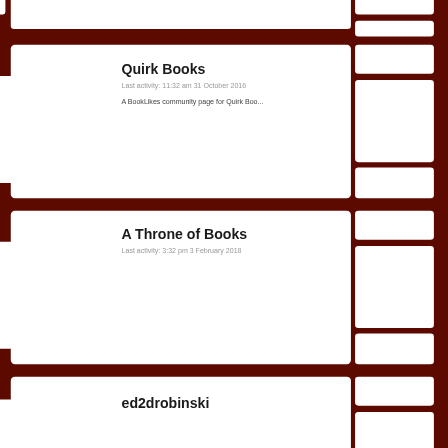Quirk Books
Last activity: 11:32 am 31 October 2016
A BookLikes community page for Quirk Boo...
A Throne of Books
Last activity: 3:32 pm 3 February 2018
ed2drobinski